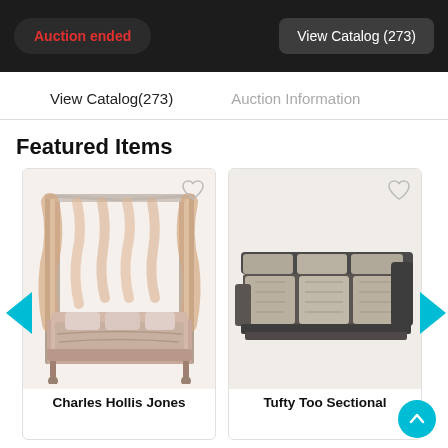Auction ended | View Catalog (273)
View Catalog(273)
Auction Information
Featured Items
[Figure (photo): Four-poster chrome canopy bed with peach/beige curtains and bedding]
[Figure (photo): Tufty Too sectional sofa in beige/taupe with dark trim]
Charles Hollis Jones
Tufty Too Sectional